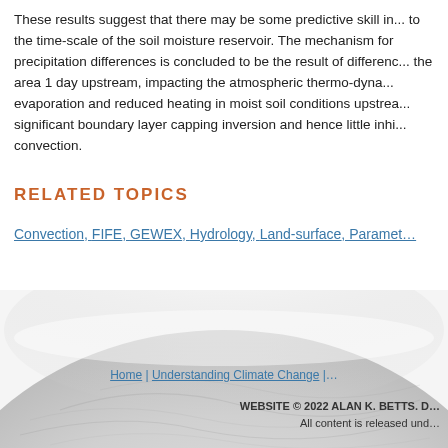These results suggest that there may be some predictive skill in... to the time-scale of the soil moisture reservoir. The mechanism for precipitation differences is concluded to be the result of differences in the area 1 day upstream, impacting the atmospheric thermo-dynamics: evaporation and reduced heating in moist soil conditions upstream, no significant boundary layer capping inversion and hence little inhibition of convection.
RELATED TOPICS
Convection, FIFE, GEWEX, Hydrology, Land-surface, Parameter...
[Figure (illustration): Globe/Earth image showing a curved horizon with white cloud or ice-covered surface, fading into background]
Home | Understanding Climate Change |
WEBSITE © 2022 ALAN K. BETTS. D... All content is released und...